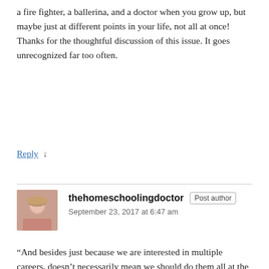a fire fighter, a ballerina, and a doctor when you grow up, but maybe just at different points in your life, not all at once! Thanks for the thoughtful discussion of this issue. It goes unrecognized far too often.
Reply ↓
thehomeschoolingdoctor  Post author
September 23, 2017 at 6:47 am
“And besides just because we are interested in multiple careers, doesn’t necessarily mean we should do them all at the same time.”

Exactly! I’m so much more aware now of the ability to ebb and flow with the [many] skills I’ve acquired in life.